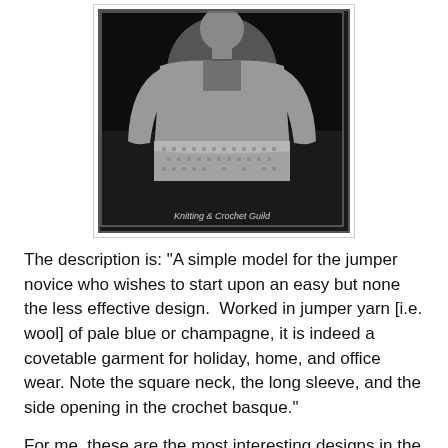[Figure (photo): Black and white photograph of a woman wearing a knitted/crocheted jumper with a square neckline, long sleeves, and a crochet basque at the bottom. The image has a border and a watermark reading 'Knitting & Crochet Guild'.]
The description is: "A simple model for the jumper novice who wishes to start upon an easy but none the less effective design.  Worked in jumper yarn [i.e. wool] of pale blue or champagne, it is indeed a covetable garment for holiday, home, and office wear. Note the square neck, the long sleeve, and the side opening in the crochet basque."
For me, these are the most interesting designs in the magazine.  But members of the Guild can download the pdf